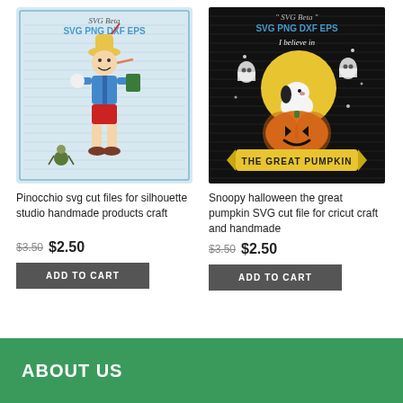[Figure (illustration): Pinocchio SVG cut file product image showing Pinocchio character walking with a book, light blue lined background, SVG Beta watermark and SVG PNG DXF EPS text at top]
Pinocchio svg cut files for silhouette studio handmade products craft
$3.50  $2.50
ADD TO CART
[Figure (illustration): Snoopy Halloween the great pumpkin SVG cut file product image showing Snoopy on a pumpkin with ghost friends, black background, SVG Beta watermark and SVG PNG DXF EPS text at top]
Snoopy halloween the great pumpkin SVG cut file for cricut craft and handmade
$3.50  $2.50
ADD TO CART
ABOUT US